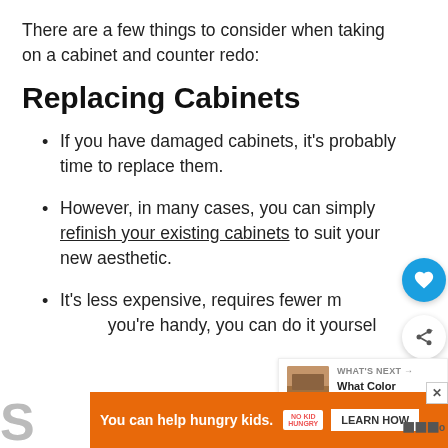There are a few things to consider when taking on a cabinet and counter redo:
Replacing Cabinets
If you have damaged cabinets, it's probably time to replace them.
However, in many cases, you can simply refinish your existing cabinets to suit your new aesthetic.
It's less expensive, requires fewer materials, and if you're handy, you can do it yourself.
[Figure (infographic): What's Next panel with image thumbnail, label 'WHAT'S NEXT →', and title 'What Color Granite Goe...']
[Figure (infographic): Advertisement banner: orange background, 'You can help hungry kids.' text, No Kid Hungry logo, LEARN HOW button]